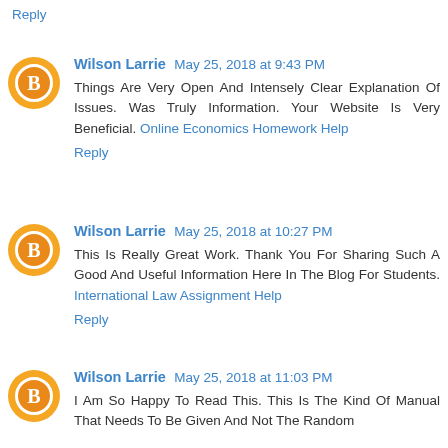Reply
Wilson Larrie May 25, 2018 at 9:43 PM
Things Are Very Open And Intensely Clear Explanation Of Issues. Was Truly Information. Your Website Is Very Beneficial. Online Economics Homework Help
Reply
Wilson Larrie May 25, 2018 at 10:27 PM
This Is Really Great Work. Thank You For Sharing Such A Good And Useful Information Here In The Blog For Students. International Law Assignment Help
Reply
Wilson Larrie May 25, 2018 at 11:03 PM
I Am So Happy To Read This. This Is The Kind Of Manual That Needs To Be Given And Not The Random